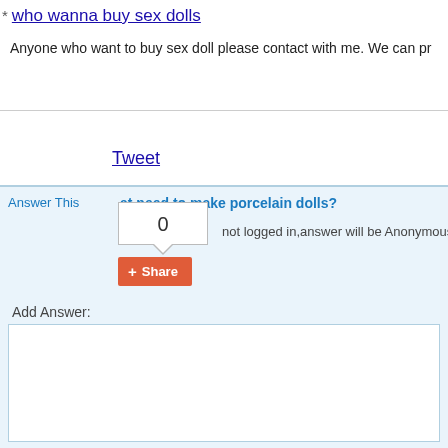who wanna buy sex dolls
Anyone who want to buy sex doll please contact with me. We can pr…
Tweet
Answer This
at need to make porcelain dolls?
0
not logged in,answer will be Anonymous.   Set N
Share
Add Answer: